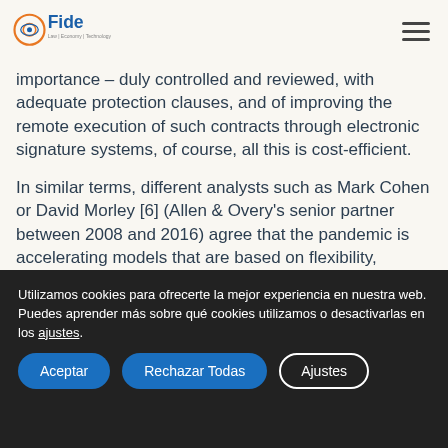FIDE Law | Economy | Technology
importance – duly controlled and reviewed, with adequate protection clauses, and of improving the remote execution of such contracts through electronic signature systems, of course, all this is cost-efficient.
In similar terms, different analysts such as Mark Cohen or David Morley [6] (Allen & Overy's senior partner between 2008 and 2016) agree that the pandemic is accelerating models that are based on flexibility, technology and resilience.
Utilizamos cookies para ofrecerte la mejor experiencia en nuestra web.
Puedes aprender más sobre qué cookies utilizamos o desactivarlas en los ajustes.
Aceptar
Rechazar Todas
Ajustes